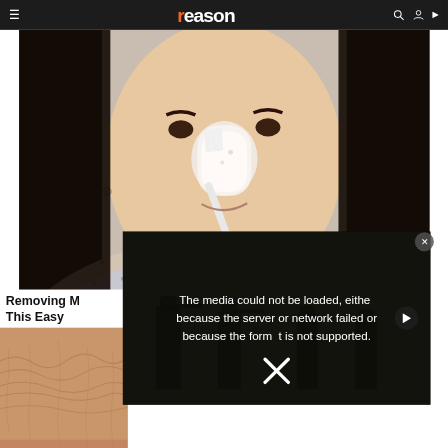reason
[Figure (photo): Woman applying white cream/paste to her nose with a toothbrush, facing the camera. She has long dark hair and is wearing a polka dot shirt. Close-up lifestyle/beauty photo.]
Removing M... This Easy
[Figure (screenshot): Video error overlay on dark background showing soldiers in background. Text reads: 'The media could not be loaded, either because the server or network failed or because the format is not supported.' with a play button circle and X dismiss button.]
[Figure (photo): Close-up photo of wrinkled/textured skin (hands or face), brown-orange tones, partially visible at bottom of page.]